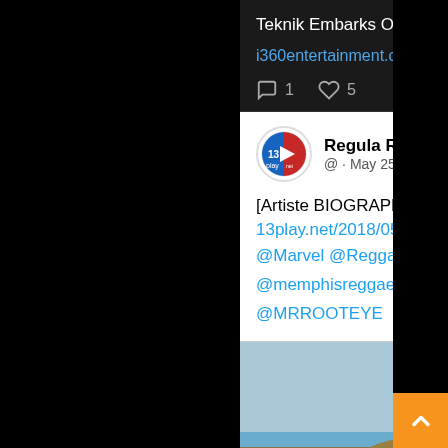Teknik Embarks On Campaign Against Drug Abuse, “Stop Drug Menace”
i360entertainment.com/record-produce…
1  5
Regula Rebel @ · May 25, 2018
[Artiste BIOGRAPHY]: - Biography of Raja Flame 13play.net/2018/05/artist… @Marvel @ReggaeVibesTruk @memphisreggae @MRROOTEYE
[Figure (photo): Photo of a person (Raja Flame) posing outdoors against a blue sky, wearing sunglasses and blue clothing, seated on or near rocks]